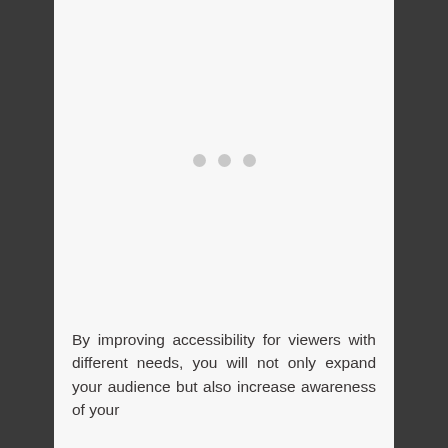[Figure (other): Large light gray image placeholder area with three small gray dots centered in the middle, suggesting a loading or placeholder image state.]
By improving accessibility for viewers with different needs, you will not only expand your audience but also increase awareness of your